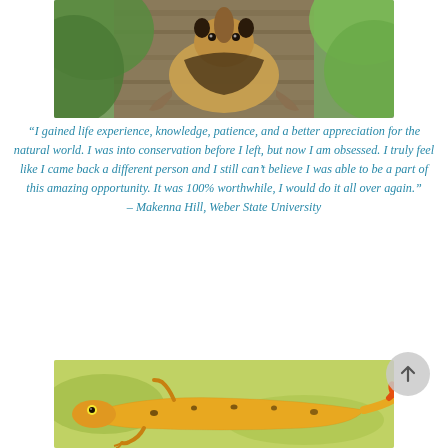[Figure (photo): Close-up photo of a tamandua (anteater) clinging to a tree branch in a tropical forest setting]
“I gained life experience, knowledge, patience, and a better appreciation for the natural world. I was into conservation before I left, but now I am obsessed. I truly feel like I came back a different person and I still can’t believe I was able to be a part of this amazing opportunity. It was 100% worthwhile, I would do it all over again.” – Makenna Hill, Weber State University
[Figure (photo): Close-up photo of a bright yellow/orange gecko or lizard on a mossy surface]